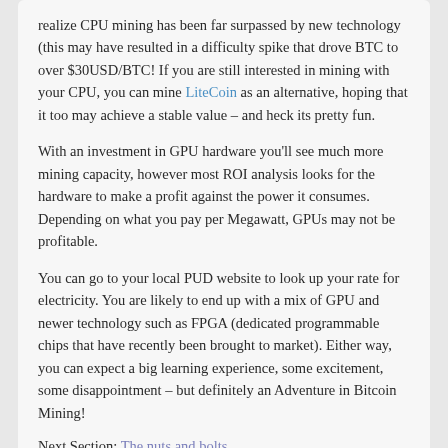realize CPU mining has been far surpassed by new technology (this may have resulted in a difficulty spike that drove BTC to over $30USD/BTC!  If you are still interested in mining with your CPU, you can mine LiteCoin as an alternative, hoping that it too may achieve a stable value – and heck its pretty fun.
With an investment in GPU hardware you'll see much more mining capacity, however most ROI analysis looks for the hardware to make a profit against the power it consumes.  Depending on what you pay per Megawatt, GPUs may not be profitable.
You can go to your local PUD website to look up your rate for electricity.  You are likely to end up with a mix of GPU and newer technology such as FPGA (dedicated programmable chips that have recently been brought to market).  Either way, you can expect a big learning experience, some excitement, some disappointment – but definitely an Adventure in Bitcoin Mining!
Next Section: The nuts and bolts
Community Discussion
ALSO ON SPEND BITCOINS